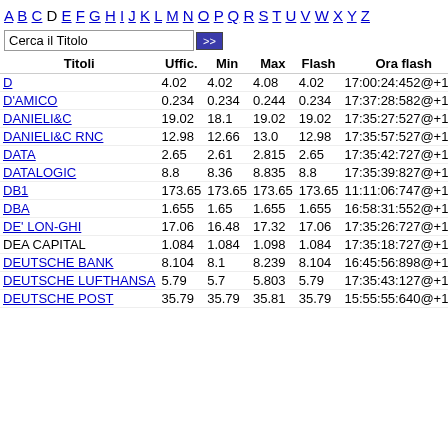A B C D E F G H I J K L M N O P Q R S T U V W X Y Z
Cerca il Titolo
| Titoli | Uffic. | Min | Max | Flash | Ora flash | % |
| --- | --- | --- | --- | --- | --- | --- |
| D | 4.02 | 4.02 | 4.08 | 4.02 | 17:00:24:452@+120 | -2 |
| D'AMICO | 0.234 | 0.234 | 0.244 | 0.234 | 17:37:28:582@+120 | -2 |
| DANIELI&C | 19.02 | 18.1 | 19.02 | 19.02 | 17:35:27:527@+120 | 3 |
| DANIELI&C RNC | 12.98 | 12.66 | 13.0 | 12.98 | 17:35:57:527@+120 | 2 |
| DATA | 2.65 | 2.61 | 2.815 | 2.65 | 17:35:42:727@+120 | -8 |
| DATALOGIC | 8.8 | 8.36 | 8.835 | 8.8 | 17:35:39:827@+120 | 2 |
| DB1 | 173.65 | 173.65 | 173.65 | 173.65 | 11:11:06:747@+120 | 1 |
| DBA | 1.655 | 1.65 | 1.655 | 1.655 | 16:58:31:552@+120 | 0 |
| DE' LON-GHI | 17.06 | 16.48 | 17.32 | 17.06 | 17:35:26:727@+120 | -2 |
| DEA CAPITAL | 1.084 | 1.084 | 1.098 | 1.084 | 17:35:18:727@+120 | -1 |
| DEUTSCHE BANK | 8.104 | 8.1 | 8.239 | 8.104 | 16:45:56:898@+120 | -2 |
| DEUTSCHE LUFTHANSA | 5.79 | 5.7 | 5.803 | 5.79 | 17:35:43:127@+120 | -2 |
| DEUTSCHE POST | 35.79 | 35.79 | 35.81 | 35.79 | 15:55:55:640@+120 | - |